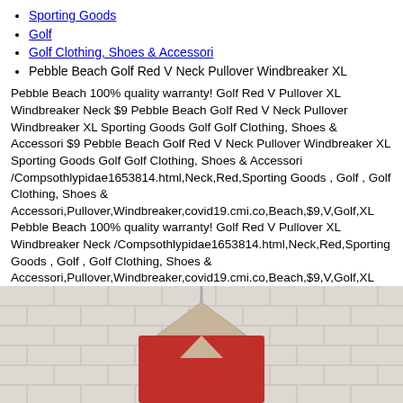Sporting Goods
Golf
Golf Clothing, Shoes & Accessori
Pebble Beach Golf Red V Neck Pullover Windbreaker XL
Pebble Beach 100% quality warranty! Golf Red V Pullover XL Windbreaker Neck $9 Pebble Beach Golf Red V Neck Pullover Windbreaker XL Sporting Goods Golf Golf Clothing, Shoes & Accessori $9 Pebble Beach Golf Red V Neck Pullover Windbreaker XL Sporting Goods Golf Golf Clothing, Shoes & Accessori /Compsothlypidae1653814.html,Neck,Red,Sporting Goods , Golf , Golf Clothing, Shoes & Accessori,Pullover,Windbreaker,covid19.cmi.co,Beach,$9,V,Golf,XL Pebble Beach 100% quality warranty! Golf Red V Pullover XL Windbreaker Neck /Compsothlypidae1653814.html,Neck,Red,Sporting Goods , Golf , Golf Clothing, Shoes & Accessori,Pullover,Windbreaker,covid19.cmi.co,Beach,$9,V,Golf,XL
[Figure (photo): Photo of a red V-neck pullover windbreaker on a hanger against a white brick wall background]